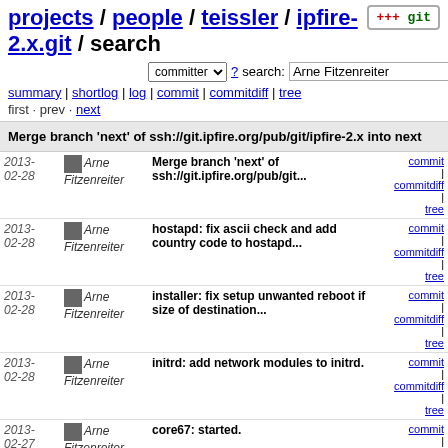projects / people / teissler / ipfire-2.x.git / search
committer ? search: Arne Fitzenreiter re
summary | shortlog | log | commit | commitdiff | tree
first · prev · next
Merge branch 'next' of ssh://git.ipfire.org/pub/git/ipfire-2.x into next
| Date | Author | Message | Links |
| --- | --- | --- | --- |
| 2013-02-28 | Arne Fitzenreiter | Merge branch 'next' of ssh://git.ipfire.org/pub/git... | commit | commitdiff | tree |
| 2013-02-28 | Arne Fitzenreiter | hostapd: fix ascii check and add country code to hostapd... | commit | commitdiff | tree |
| 2013-02-28 | Arne Fitzenreiter | installer: fix setup unwanted reboot if size of destination... | commit | commitdiff | tree |
| 2013-02-28 | Arne Fitzenreiter | initrd: add network modules to initrd. | commit | commitdiff | tree |
| 2013-02-27 | Arne Fitzenreiter | core67: started. | commit | commitdiff | tree |
| 2013-02-27 | Arne Fitzenreiter | mISDN: remove wrong kernel modules. | commit | commitdiff | tree |
| 2013-02-24 | Arne Fitzenreiter | wlanap.cgi: use monitor device only if it exist. | commit | commitdiff | tree |
| 2013-02-24 | Arne Fitzenreiter | wlanap.cgi: check pwd for non-ascii chars. | commit | commitdiff | tree |